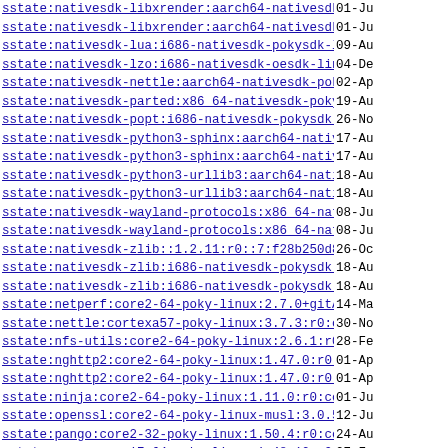| Link | Date |
| --- | --- |
| sstate:nativesdk-libxrender:aarch64-nativesdk-p..> | 01-Ju... |
| sstate:nativesdk-libxrender:aarch64-nativesdk-p..> | 01-Ju... |
| sstate:nativesdk-lua:i686-nativesdk-pokysdk-lin..> | 09-Au... |
| sstate:nativesdk-lzo:i686-nativesdk-oesdk-linux..> | 04-De... |
| sstate:nativesdk-nettle:aarch64-nativesdk-pokys..> | 02-Ap... |
| sstate:nativesdk-parted:x86_64-nativesdk-pokysd..> | 19-Au... |
| sstate:nativesdk-popt:i686-nativesdk-pokysdk-li..> | 26-No... |
| sstate:nativesdk-python3-sphinx:aarch64-natives..> | 17-Au... |
| sstate:nativesdk-python3-sphinx:aarch64-natives..> | 17-Au... |
| sstate:nativesdk-python3-urllib3:aarch64-native..> | 18-Au... |
| sstate:nativesdk-python3-urllib3:aarch64-native..> | 18-Au... |
| sstate:nativesdk-wayland-protocols:x86_64-nativ..> | 08-Ju... |
| sstate:nativesdk-wayland-protocols:x86_64-nativ..> | 08-Ju... |
| sstate:nativesdk-zlib::1.2.11:r0::7:f28b250d83a..> | 26-Oc... |
| sstate:nativesdk-zlib:i686-nativesdk-pokysdk-li..> | 18-Au... |
| sstate:nativesdk-zlib:i686-nativesdk-pokysdk-li..> | 18-Au... |
| sstate:netperf:core2-64-poky-linux:2.7.0+gitAUT..> | 14-Ma... |
| sstate:nettle:cortexa57-poky-linux:3.7.3:r0:cor..> | 30-No... |
| sstate:nfs-utils:core2-64-poky-linux:2.6.1:r0:c..> | 28-Fe... |
| sstate:nghttp2:core2-64-poky-linux:1.47.0:r0:co..> | 01-Ap... |
| sstate:nghttp2:core2-64-poky-linux:1.47.0:r0:co..> | 01-Ap... |
| sstate:ninja:core2-64-poky-linux:1.11.0:r0:core..> | 01-Ju... |
| sstate:openssl:core2-64-poky-linux-musl:3.0.5:r..> | 12-Ju... |
| sstate:pango:core2-32-poky-linux:1.50.4:r0:core..> | 24-Au... |
| sstate:pango:corei7-64-poky-linux:1.48.10:r0:co..> | 07-Fe... |
| sstate:pango:cortexa15t2hf-neon-oe-linux-gnueab..> | 02-Fe... |
| sstate:pango:mips32r2-poky-linux:1.48.10:r0:mip..> | 15-Fe... |
| sstate:pango:mips64-poky-linux:1.50.8:r0:mips64..> | 18-Au... |
| sstate:patchelf:core2-64-poky-linux:0.14.5:r0:c..> | 22-Ap... |
| sstate:patchelf:core2-64-poky-linux:0.14.5:r0:c... | 22-Ap... |